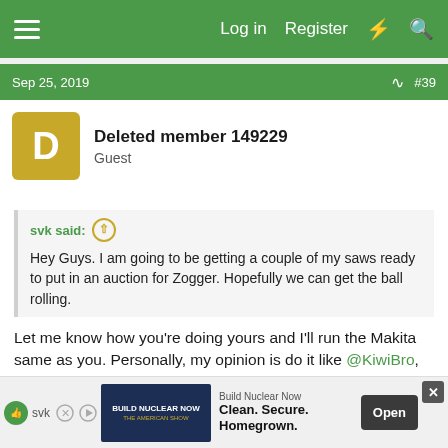Log in  Register
Sep 25, 2019  #39
Deleted member 149229
Guest
svk said: ↑
Hey Guys. I am going to be getting a couple of my saws ready to put in an auction for Zogger. Hopefully we can get the ball rolling.
Let me know how you're doing yours and I'll run the Makita same as you. Personally, my opinion is do it like @KiwiBro, minimum opening bid and high bid wins. Just let me know when you want to end it. I have PayPal so the winning bidder can pay me thru F&F and I can send the money to Zogger the same way